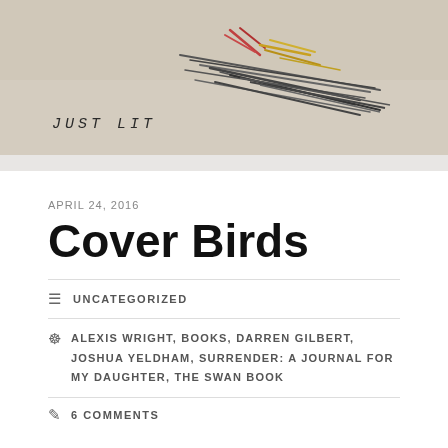[Figure (photo): Sketch or drawing on textured beige paper with colored pencil marks suggesting birds or abstract forms, with handwritten text 'JUST LIT' at the bottom left]
APRIL 24, 2016
Cover Birds
UNCATEGORIZED
ALEXIS WRIGHT, BOOKS, DARREN GILBERT, JOSHUA YELDHAM, SURRENDER: A JOURNAL FOR MY DAUGHTER, THE SWAN BOOK
6 COMMENTS